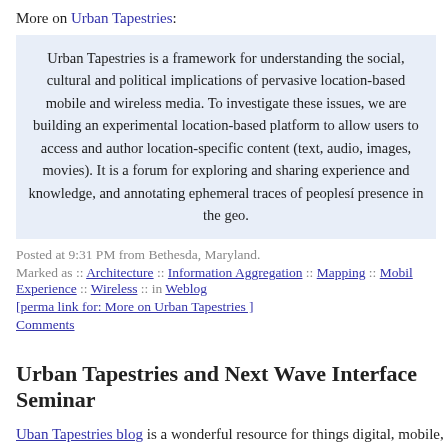More on Urban Tapestries:
Urban Tapestries is a framework for understanding the social, cultural and political implications of pervasive location-based mobile and wireless media. To investigate these issues, we are building an experimental location-based platform to allow users to access and author location-specific content (text, audio, images, movies). It is a forum for exploring and sharing experience and knowledge, and annotating ephemeral traces of peoples' presence in the geo.
Posted at 9:31 PM from Bethesda, Maryland.
Marked as :: Architecture :: Information Aggregation :: Mapping :: Mobile Experience :: Wireless :: in Weblog
[perma link for: More on Urban Tapestries ]
Comments
Urban Tapestries and Next Wave Interface Seminar
Uban Tapestries blog is a wonderful resource for things digital, mobile, has pointed to Next Wave Interface Annual Seminar, which has supplied presentations. These two resources get to the understanding of enhanced environment.
Posted at 9:23 PM from Bethesda, Maryland.